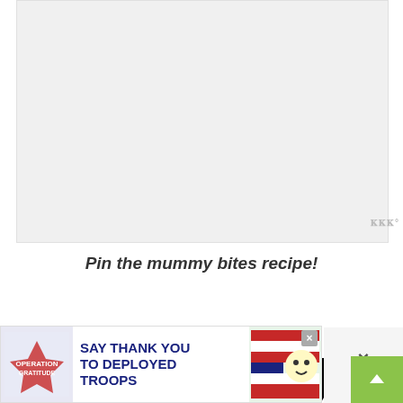[Figure (photo): Light gray placeholder image area at top of page]
Pin the mummy bites recipe!
[Figure (illustration): Black background image with large bold white and red text reading MUMMY BITES, with heart and share buttons overlaid, and a 'What's Next' panel showing Cornflake Candy]
[Figure (photo): Advertisement banner: Operation Gratitude - Say Thank You To Deployed Troops, with a close button]
[Figure (other): Green scroll-to-top button on the right side]
[Figure (other): Close X button with wmo watermark logo on the far right]